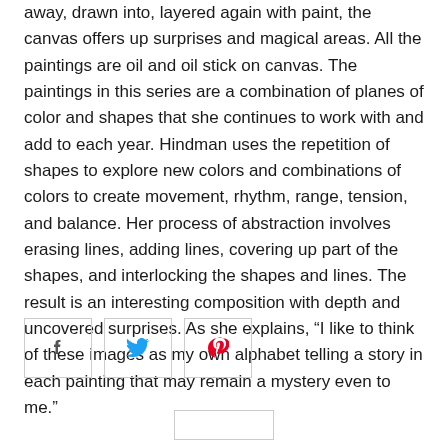away, drawn into, layered again with paint, the canvas offers up surprises and magical areas. All the paintings are oil and oil stick on canvas. The paintings in this series are a combination of planes of color and shapes that she continues to work with and add to each year. Hindman uses the repetition of shapes to explore new colors and combinations of colors to create movement, rhythm, range, tension, and balance. Her process of abstraction involves erasing lines, adding lines, covering up part of the shapes, and interlocking the shapes and lines. The result is an interesting composition with depth and uncovered surprises. As she explains, “I like to think of these images as my own alphabet telling a story in each painting that may remain a mystery even to me.”
[Figure (other): Three social share buttons: Facebook (f icon), Twitter (bird icon), Pinterest (P icon)]